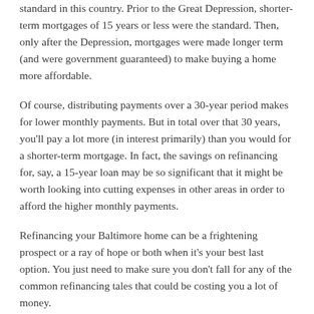standard in this country. Prior to the Great Depression, shorter-term mortgages of 15 years or less were the standard. Then, only after the Depression, mortgages were made longer term (and were government guaranteed) to make buying a home more affordable.
Of course, distributing payments over a 30-year period makes for lower monthly payments. But in total over that 30 years, you'll pay a lot more (in interest primarily) than you would for a shorter-term mortgage. In fact, the savings on refinancing for, say, a 15-year loan may be so significant that it might be worth looking into cutting expenses in other areas in order to afford the higher monthly payments.
Refinancing your Baltimore home can be a frightening prospect or a ray of hope or both when it's your best last option. You just need to make sure you don't fall for any of the common refinancing tales that could be costing you a lot of money.
IF YOU WANT TO LEARN MORE ABOUT THE THORNY